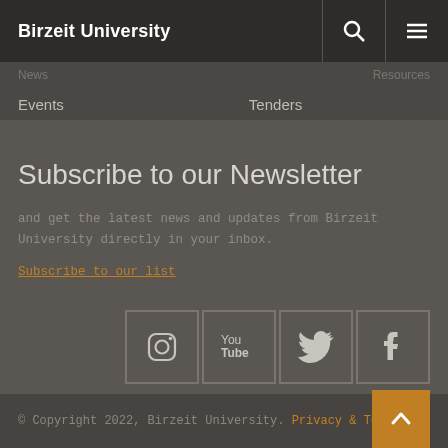Birzeit University
Events
Tenders
Subscribe to our Newsletter
and get the latest news and updates from Birzeit University directly in your inbox.
Subscribe to our list
[Figure (infographic): Social media icons: Instagram, YouTube, Twitter, Facebook in square bordered boxes]
© Copyright 2022, Birzeit University. Privacy & Terms